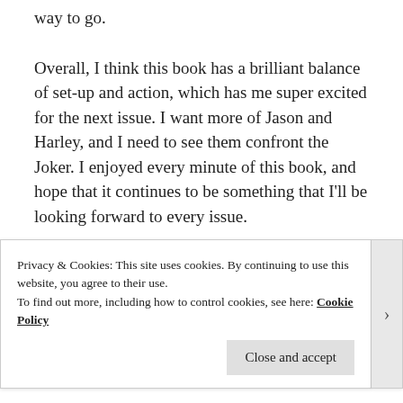way to go.
Overall, I think this book has a brilliant balance of set-up and action, which has me super excited for the next issue. I want more of Jason and Harley, and I need to see them confront the Joker. I enjoyed every minute of this book, and hope that it continues to be something that I'll be looking forward to every issue.
Suicide Squad: Get Joker #1 is available from Comixology, Forbidden Planet, or your local comic book store.
Privacy & Cookies: This site uses cookies. By continuing to use this website, you agree to their use.
To find out more, including how to control cookies, see here: Cookie Policy
Close and accept